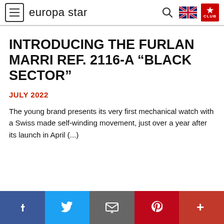europa star
INTRODUCING THE FURLAN MARRI REF. 2116-A “BLACK SECTOR”
JULY 2022
The young brand presents its very first mechanical watch with a Swiss made self-winding movement, just over a year after its launch in April (...)
Facebook Twitter Email Pinterest More